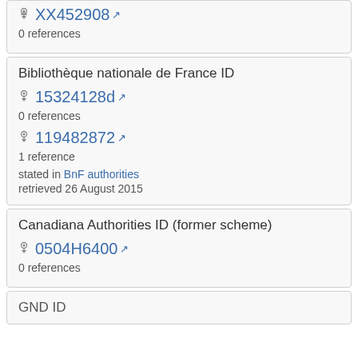XX452908
0 references
Bibliothèque nationale de France ID
15324128d
0 references
119482872
1 reference
stated in BnF authorities
retrieved 26 August 2015
Canadiana Authorities ID (former scheme)
0504H6400
0 references
GND ID